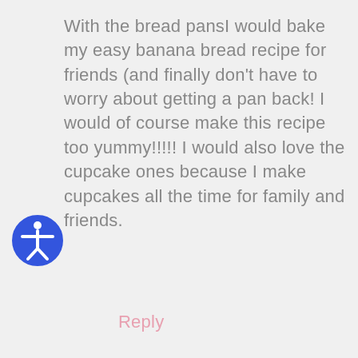With the bread pansI would bake my easy banana bread recipe for friends (and finally don't have to worry about getting a pan back! I would of course make this recipe too yummy!!!!! I would also love the cupcake ones because I make cupcakes all the time for family and friends.
Reply